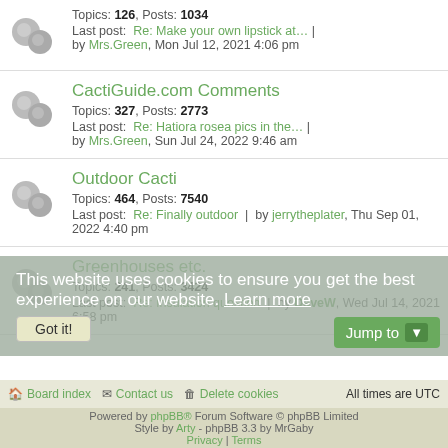Topics: 126, Posts: 1034
Last post: Re: Make your own lipstick at… | by Mrs.Green, Mon Jul 12, 2021 4:06 pm
CactiGuide.com Comments
Topics: 327, Posts: 2773
Last post: Re: Hatiora rosea pics in the… | by Mrs.Green, Sun Jul 24, 2022 9:46 am
Outdoor Cacti
Topics: 464, Posts: 7540
Last post: Re: Finally outdoor | by jerrytheplater, Thu Sep 01, 2022 4:40 pm
Greenhouses etc.
Topics: 241, Posts: 3424
Last post: Re: Insulation question | by DaveW, Wed Jul 14, 2021 6:58 pm
This website uses cookies to ensure you get the best experience on our website. Learn more
Board index | Contact us | Delete cookies | All times are UTC
Powered by phpBB® Forum Software © phpBB Limited
Style by Arty - phpBB 3.3 by MrGaby
Privacy | Terms